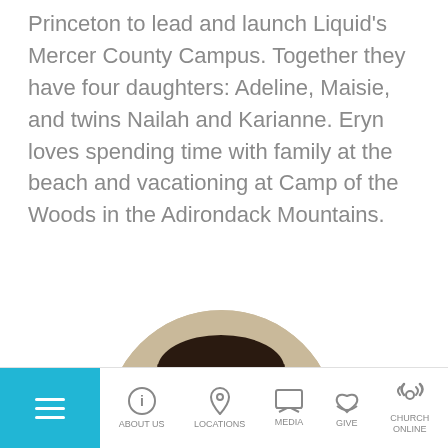Princeton to lead and launch Liquid's Mercer County Campus. Together they have four daughters: Adeline, Maisie, and twins Nailah and Karianne. Eryn loves spending time with family at the beach and vacationing at Camp of the Woods in the Adirondack Mountains.
[Figure (photo): Circular portrait photo of a smiling man with a beard, wearing a dark shirt, against a warm blurred background.]
ABOUT US | LOCATIONS | MEDIA | GIVE | CHURCH ONLINE